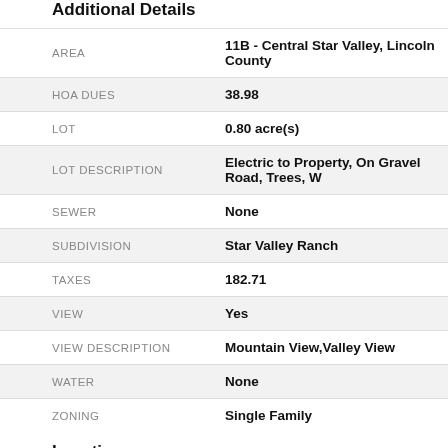Additional Details
| Field | Value |
| --- | --- |
| AREA | 11B - Central Star Valley, Lincoln County |
| HOA DUES | 38.98 |
| LOT | 0.80 acre(s) |
| LOT DESCRIPTION | Electric to Property, On Gravel Road, Trees, W... |
| SEWER | None |
| SUBDIVISION | Star Valley Ranch |
| TAXES | 182.71 |
| VIEW | Yes |
| VIEW DESCRIPTION | Mountain View,Valley View |
| WATER | None |
| ZONING | Single Family |
Location
[Figure (map): Google map showing property location with satellite/map view. Left portion shows satellite imagery (dark green trees), right portion shows Google logo on white background.]